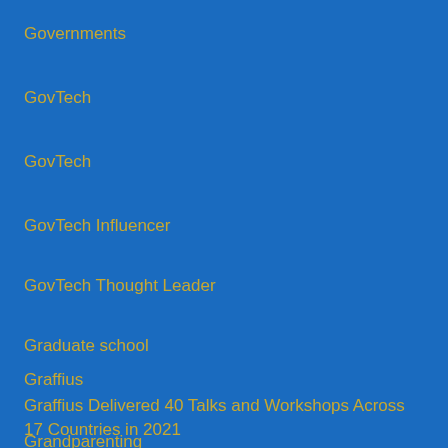Governments
GovTech
GovTech
GovTech Influencer
GovTech Thought Leader
Graduate school
Graffius
Graffius Delivered 40 Talks and Workshops Across 17 Countries in 2021
Grandparenting